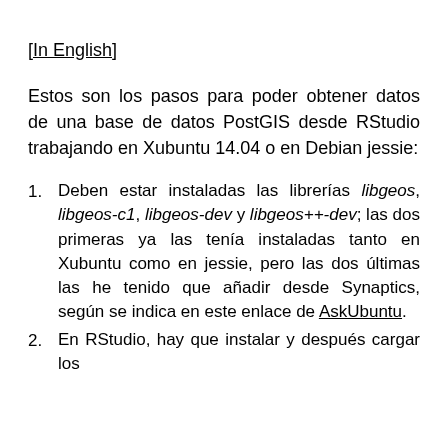[In English]
Estos son los pasos para poder obtener datos de una base de datos PostGIS desde RStudio trabajando en Xubuntu 14.04 o en Debian jessie:
Deben estar instaladas las librerías libgeos, libgeos-c1, libgeos-dev y libgeos++-dev; las dos primeras ya las tenía instaladas tanto en Xubuntu como en jessie, pero las dos últimas las he tenido que añadir desde Synaptics, según se indica en este enlace de AskUbuntu.
En RStudio, hay que instalar y después cargar los